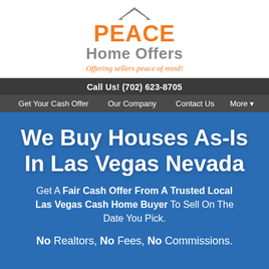[Figure (logo): Peace Home Offers logo with a house/roof icon in gray above the text PEACE in orange, Home Offers in gray, and tagline 'Offering sellers peace of mind!' in orange italic]
Call Us! (702) 623-8705
Get Your Cash Offer   Our Company   Contact Us   More ▾
We Buy Houses As-Is In Las Vegas Nevada
Get A Fair Cash Offer From A Trusted Local Las Vegas Cash Home Buyer To Sell On The Date You Pick.
No Realtors, No Fees, No Commissions.